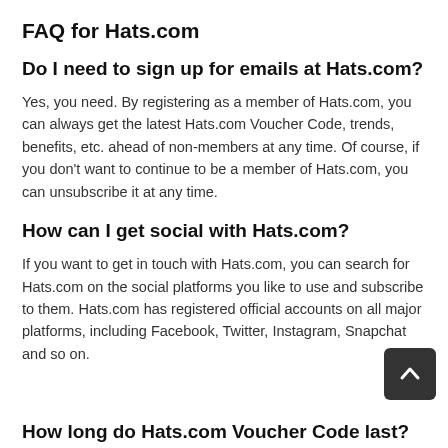FAQ for Hats.com
Do I need to sign up for emails at Hats.com?
Yes, you need. By registering as a member of Hats.com, you can always get the latest Hats.com Voucher Code, trends, benefits, etc. ahead of non-members at any time. Of course, if you don't want to continue to be a member of Hats.com, you can unsubscribe it at any time.
How can I get social with Hats.com?
If you want to get in touch with Hats.com, you can search for Hats.com on the social platforms you like to use and subscribe to them. Hats.com has registered official accounts on all major platforms, including Facebook, Twitter, Instagram, Snapchat and so on.
How long do Hats.com Voucher Code last?